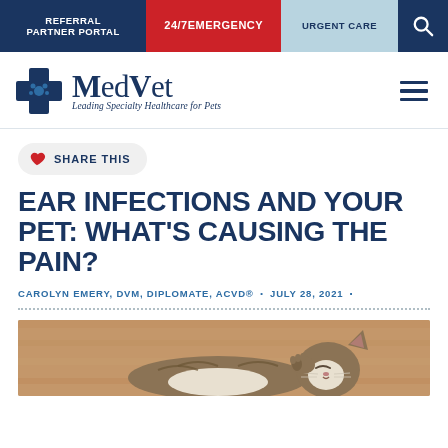REFERRAL PARTNER PORTAL | 24/7 EMERGENCY | URGENT CARE
[Figure (logo): MedVet logo with blue cross and tagline 'Leading Specialty Healthcare for Pets']
SHARE THIS
EAR INFECTIONS AND YOUR PET: WHAT'S CAUSING THE PAIN?
CAROLYN EMERY, DVM, DIPLOMATE, ACVD® · JULY 28, 2021 ·
[Figure (photo): A tabby cat lying on a wooden floor, scratching its ear with its paw]